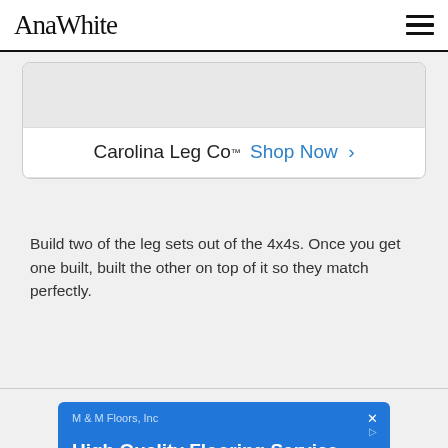AnaWhite
[Figure (screenshot): Carolina Leg Co advertisement card with image placeholder and 'Carolina Leg Co™ Shop Now >' call to action]
Build two of the leg sets out of the 4x4s. Once you get one built, built the other on top of it so they match perfectly.
[Figure (screenshot): M & M Floors, Inc advertisement banner. High Quality Flooring Service. We Have a Complete Showroom Located in Merrifield, Virginia.]